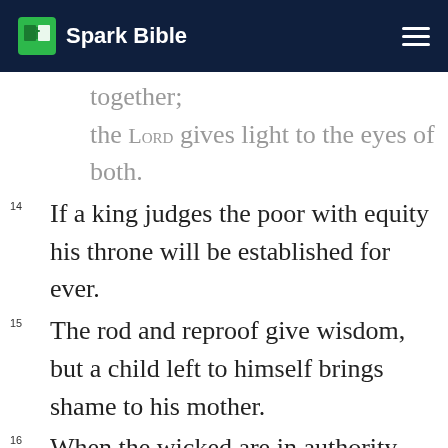Spark Bible
together;
the LORD gives light to the eyes of both.
14 If a king judges the poor with equity his throne will be established for ever.
15 The rod and reproof give wisdom, but a child left to himself brings shame to his mother.
16 When the wicked are in authority